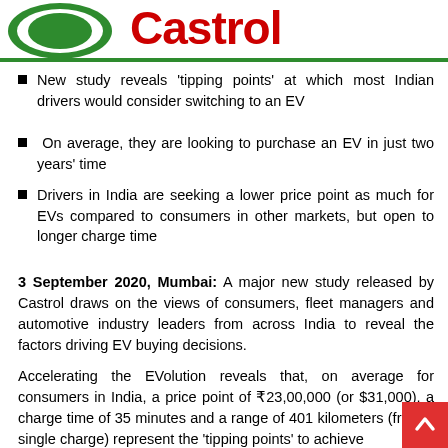[Figure (logo): Castrol logo — green oval with red Castrol script on white background with green border]
New study reveals 'tipping points' at which most Indian drivers would consider switching to an EV
On average, they are looking to purchase an EV in just two years' time
Drivers in India are seeking a lower price point as much for EVs compared to consumers in other markets, but open to longer charge time
3 September 2020, Mumbai: A major new study released by Castrol draws on the views of consumers, fleet managers and automotive industry leaders from across India to reveal the factors driving EV buying decisions.
Accelerating the EVolution reveals that, on average for consumers in India, a price point of ₹23,00,000 (or $31,000), a charge time of 35 minutes and a range of 401 kilometers (from a single charge) represent the 'tipping points' to achieve mainstream EV adoption. The research also estimates that th…